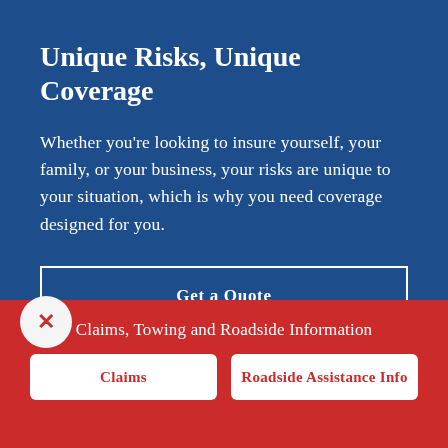Unique Risks, Unique Coverage
Whether you’re looking to insure yourself, your family, or your business, your risks are unique to your situation, which is why you need coverage designed for you.
Get a Quote
Claims, Towing and Roadside Information
Claims
Roadside Assistance Info